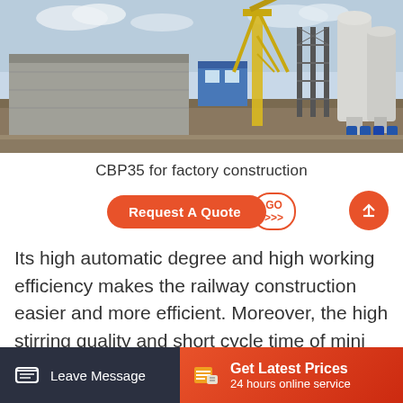[Figure (photo): Outdoor cement batching plant (CBP35) with yellow crane/conveyor structure, blue control cabin, white silos, and concrete bins under a partly cloudy sky.]
CBP35 for factory construction
[Figure (other): Orange 'Request A Quote' button with 'GO >>>' white bordered companion button, and orange scroll-to-top circle button with up-arrow.]
Its high automatic degree and high working efficiency makes the railway construction easier and more efficient. Moreover, the high stirring quality and short cycle time of mini cement plant makes it become the
Leave Message | Get Latest Prices | 24 hours online service